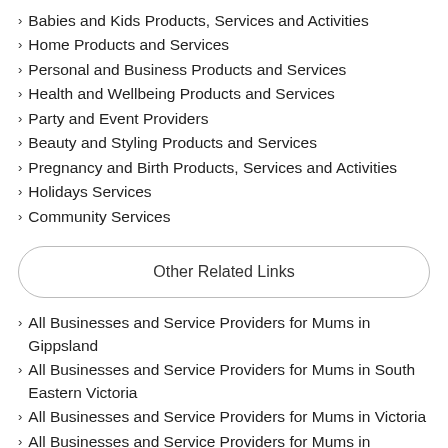Babies and Kids Products, Services and Activities
Home Products and Services
Personal and Business Products and Services
Health and Wellbeing Products and Services
Party and Event Providers
Beauty and Styling Products and Services
Pregnancy and Birth Products, Services and Activities
Holidays Services
Community Services
Other Related Links
All Businesses and Service Providers for Mums in Gippsland
All Businesses and Service Providers for Mums in South Eastern Victoria
All Businesses and Service Providers for Mums in Victoria
All Businesses and Service Providers for Mums in Australia